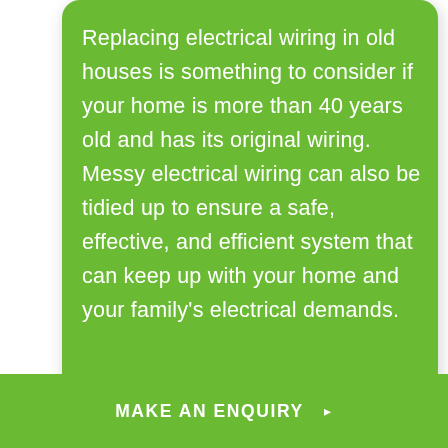Replacing electrical wiring in old houses is something to consider if your home is more than 40 years old and has its original wiring. Messy electrical wiring can also be tidied up to ensure a safe, effective, and efficient system that can keep up with your home and your family's electrical demands.
Read more ▸
MAKE AN ENQUIRY ▸